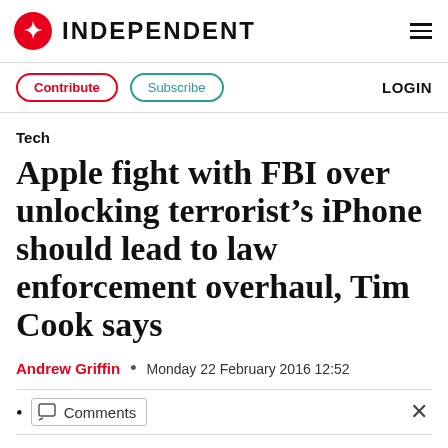INDEPENDENT
Tech
Apple fight with FBI over unlocking terrorist’s iPhone should lead to law enforcement overhaul, Tim Cook says
Andrew Griffin • Monday 22 February 2016 12:52
Comments